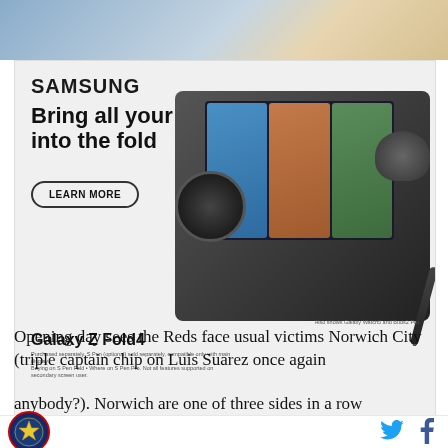[Figure (photo): Top portion of a webpage showing a Samsung advertisement for the Galaxy Z Fold4. The ad features the tagline 'Bring all your devices into the fold' with a Learn More button, product images including a smartwatch, foldable phone showing a video call, earbuds, and stylus.]
POWERED BY CONCERT
FEEDBACK
Opening day sees the Reds face usual victims Norwich City (triple captain chip on Luis Suarez once again anybody?). Norwich are one of three sides in a row
[Figure (logo): Circular sports/gaming website logo with star emblem on dark blue background with red border]
[Figure (other): Twitter bird icon in blue]
[Figure (other): Facebook f icon in dark blue]